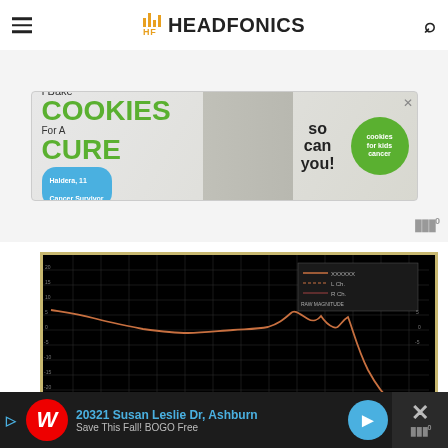HEADFONICS
[Figure (other): Advertisement banner for 'I Bake Cookies For A Cure' - cookies for kids cancer charity]
[Figure (continuous-plot): Headphone frequency response measurement graph on black background with tan/khaki border. A single reddish-brown curve shows frequency response starting high on the left (low frequencies), gently declining through the midrange, peaking around 8-10kHz, then dropping steeply at high frequencies. Grid lines on black background.]
[Figure (other): Walgreens advertisement banner at bottom: '20321 Susan Leslie Dr, Ashburn - Save This Fall! BOGO Free' with navigation arrow and close button]